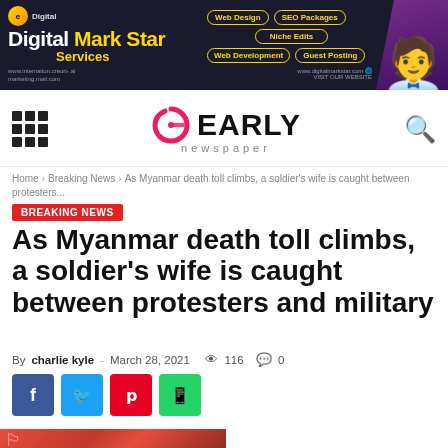[Figure (illustration): Digital Mark Star Services advertisement banner with dark navy background, logo, service buttons (Web Design, SEO Packages, Niche Edits, Web Development, Guest Posting), and a person in a suit on the right.]
[Figure (logo): Early Newspaper logo with stylized red/pink 'e' icon and bold EARLY text with 'newspaper' subtitle, flanked by grid menu icon and search icon.]
Home › Breaking News › As Myanmar death toll climbs, a soldier's wife is caught between protesters...
BREAKING NEWS
As Myanmar death toll climbs, a soldier's wife is caught between protesters and military
By charlie kyle - March 28, 2021  👁 116  💬 0
[Figure (illustration): Social sharing buttons: Facebook (blue), Twitter (cyan), Pinterest (red), WhatsApp (green)]
[Figure (photo): Partial view of a photo at the bottom showing red-toned imagery related to Myanmar protests.]